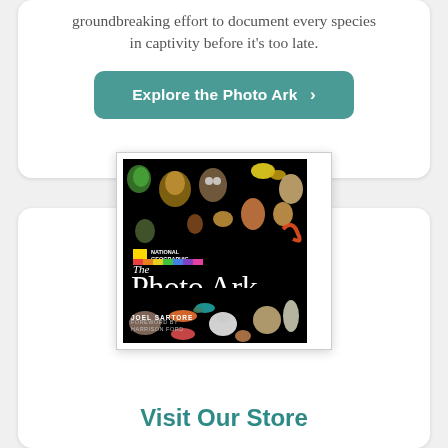groundbreaking effort to document every species in captivity before it's too late.
Explore the Photo Ark ›
[Figure (photo): Cover of the National Geographic Photo Ark book by Joel Sartore, foreword by Harrison Ford. Black cover with various animal photos arranged around large white text reading 'The Photo Ark' with subtitle 'One Man's Quest to Document the World's Animals'.]
Visit Our Store